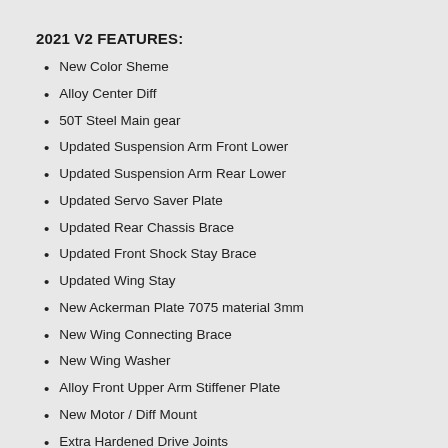2021 V2 FEATURES:
New Color Sheme
Alloy Center Diff
50T Steel Main gear
Updated Suspension Arm Front Lower
Updated Suspension Arm Rear Lower
Updated Servo Saver Plate
Updated Rear Chassis Brace
Updated Front Shock Stay Brace
Updated Wing Stay
New Ackerman Plate 7075 material 3mm
New Wing Connecting Brace
New Wing Washer
Alloy Front Upper Arm Stiffener Plate
New Motor / Diff Mount
Extra Hardened Drive Joints
New Composite Steering links
New Composite Rear Upper links